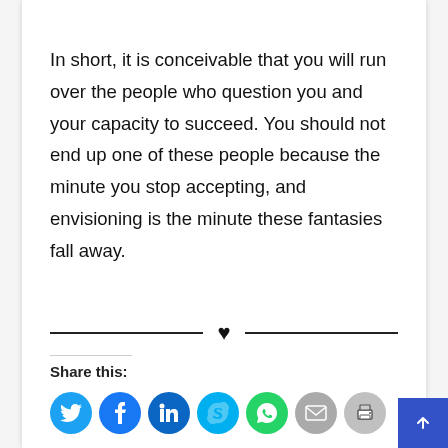In short, it is conceivable that you will run over the people who question you and your capacity to succeed. You should not end up one of these people because the minute you stop accepting, and envisioning is the minute these fantasies fall away.
[Figure (illustration): Horizontal divider with two lines and a heart symbol in the center]
Share this:
[Figure (illustration): Social share icon buttons: Twitter, Facebook, LinkedIn, Skype, WhatsApp, Email, Print]